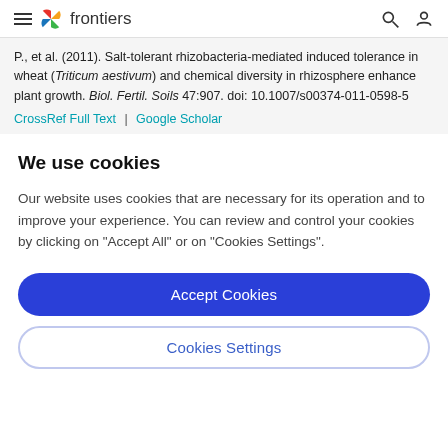frontiers
P., et al. (2011). Salt-tolerant rhizobacteria-mediated induced tolerance in wheat (Triticum aestivum) and chemical diversity in rhizosphere enhance plant growth. Biol. Fertil. Soils 47:907. doi: 10.1007/s00374-011-0598-5
CrossRef Full Text | Google Scholar
We use cookies
Our website uses cookies that are necessary for its operation and to improve your experience. You can review and control your cookies by clicking on "Accept All" or on "Cookies Settings".
Accept Cookies
Cookies Settings